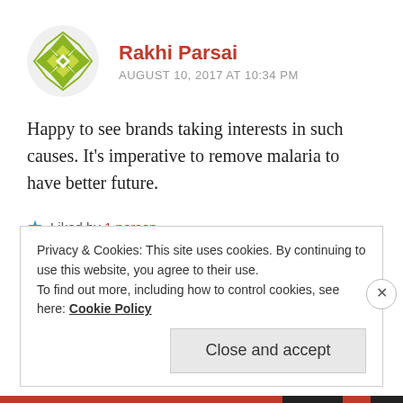[Figure (illustration): Circular avatar with a green/yellow geometric diamond/snowflake pattern on white background]
Rakhi Parsai
AUGUST 10, 2017 AT 10:34 PM
Happy to see brands taking interests in such causes. It's imperative to remove malaria to have better future.
★ Liked by 1 person
REPLY
Privacy & Cookies: This site uses cookies. By continuing to use this website, you agree to their use.
To find out more, including how to control cookies, see here: Cookie Policy
Close and accept